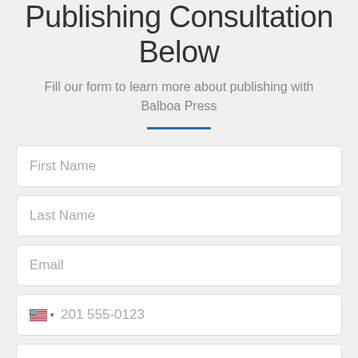Publishing Consultation Below
Fill our form to learn more about publishing with Balboa Press
[Figure (other): Blue horizontal divider line]
First Name
Last Name
Email
201 555-0123
Postcode/Zip